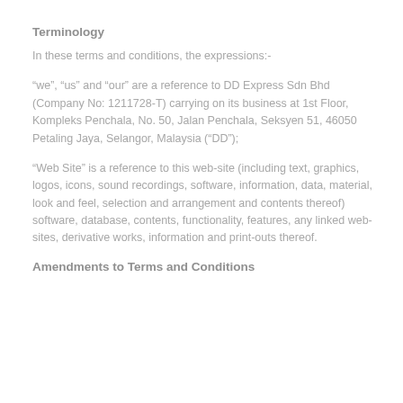Terminology
In these terms and conditions, the expressions:-
“we”, “us” and “our” are a reference to DD Express Sdn Bhd (Company No: 1211728-T) carrying on its business at 1st Floor, Kompleks Penchala, No. 50, Jalan Penchala, Seksyen 51, 46050 Petaling Jaya, Selangor, Malaysia (“DD”);
“Web Site” is a reference to this web-site (including text, graphics, logos, icons, sound recordings, software, information, data, material, look and feel, selection and arrangement and contents thereof) software, database, contents, functionality, features, any linked web-sites, derivative works, information and print-outs thereof.
Amendments to Terms and Conditions